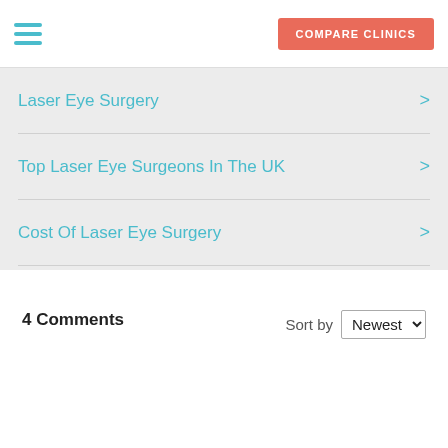COMPARE CLINICS
Laser Eye Surgery
Top Laser Eye Surgeons In The UK
Cost Of Laser Eye Surgery
View all Laser eye surgery articles »
4 Comments
Sort by Newest